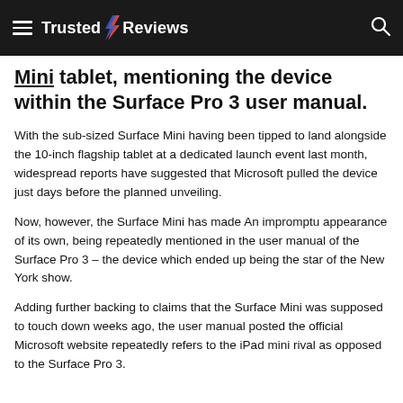Trusted Reviews
Mini tablet, mentioning the device within the Surface Pro 3 user manual.
With the sub-sized Surface Mini having been tipped to land alongside the 10-inch flagship tablet at a dedicated launch event last month, widespread reports have suggested that Microsoft pulled the device just days before the planned unveiling.
Now, however, the Surface Mini has made An impromptu appearance of its own, being repeatedly mentioned in the user manual of the Surface Pro 3 – the device which ended up being the star of the New York show.
Adding further backing to claims that the Surface Mini was supposed to touch down weeks ago, the user manual posted the official Microsoft website repeatedly refers to the iPad mini rival as opposed to the Surface Pro 3.